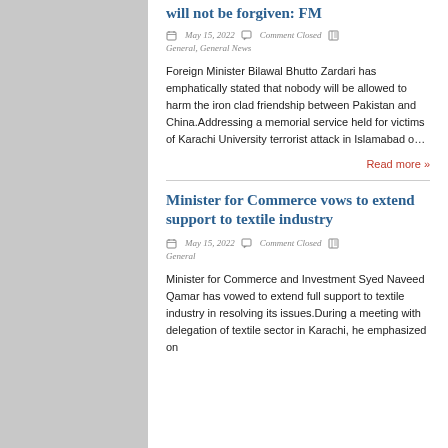will not be forgiven: FM
May 15, 2022   Comment Closed   General, General News
Foreign Minister Bilawal Bhutto Zardari has emphatically stated that nobody will be allowed to harm the iron clad friendship between Pakistan and China.Addressing a memorial service held for victims of Karachi University terrorist attack in Islamabad o…
Read more »
Minister for Commerce vows to extend support to textile industry
May 15, 2022   Comment Closed   General
Minister for Commerce and Investment Syed Naveed Qamar has vowed to extend full support to textile industry in resolving its issues.During a meeting with delegation of textile sector in Karachi, he emphasized on